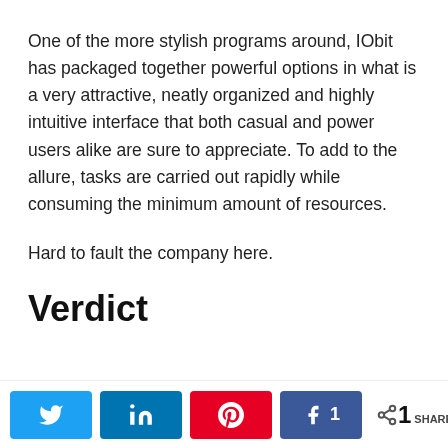One of the more stylish programs around, IObit has packaged together powerful options in what is a very attractive, neatly organized and highly intuitive interface that both casual and power users alike are sure to appreciate. To add to the allure, tasks are carried out rapidly while consuming the minimum amount of resources.
Hard to fault the company here.
Verdict
Share buttons: Twitter, LinkedIn, Pinterest, Facebook (1 share), 1 SHARES